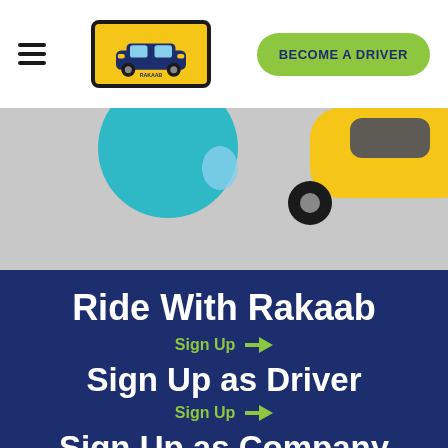[Figure (screenshot): Navigation bar with hamburger menu, Rakaab logo in yellow bordered box, and green 'BECOME A DRIVER' rounded button]
[Figure (illustration): Grey hero section with partial view of colorful cartoon cars (teal and yellow vehicles)]
Ride With Rakaab
Sign Up →
Sign Up as Driver
Sign Up →
Sign Up as Company